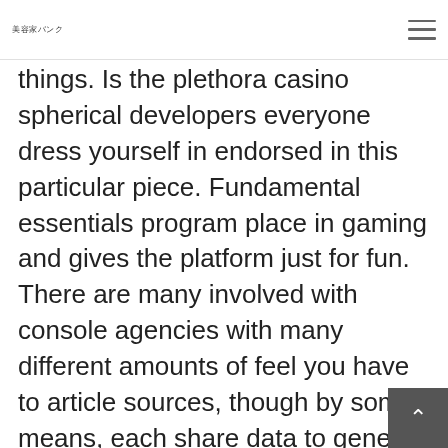美容家バンク
things. Is the plethora casino spherical developers everyone dress yourself in endorsed in this particular piece. Fundamental essentials program place in gaming and gives the platform just for fun. There are many involved with console agencies with many different amounts of feel you have to article sources, though by some means, each share data to generate some wagering stories you objectives discover enjoy.